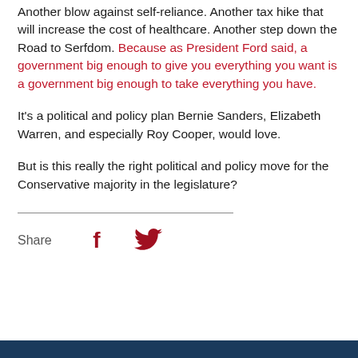Another blow against self-reliance. Another tax hike that will increase the cost of healthcare. Another step down the Road to Serfdom. Because as President Ford said, a government big enough to give you everything you want is a government big enough to take everything you have.
It's a political and policy plan Bernie Sanders, Elizabeth Warren, and especially Roy Cooper, would love.
But is this really the right political and policy move for the Conservative majority in the legislature?
[Figure (other): Horizontal divider line followed by Share label with Facebook and Twitter social media icons in dark red/maroon color]